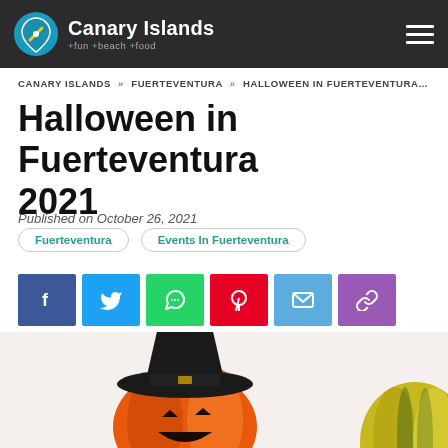Canary Islands — guide to fun beach food
CANARY ISLANDS » FUERTEVENTURA » HALLOWEEN IN FUERTEVENTURA 2021
Halloween in Fuerteventura 2021
Published on October 26, 2021
Fuerteventura
Events In Fuerteventura
[Figure (infographic): Social sharing buttons: Facebook (blue), Twitter (light blue), WhatsApp (green), Pinterest (red), Email (blue), Link/copy (purple)]
[Figure (photo): Halloween pumpkin with witch hat and a second decorative pumpkin on the right, on a white background]